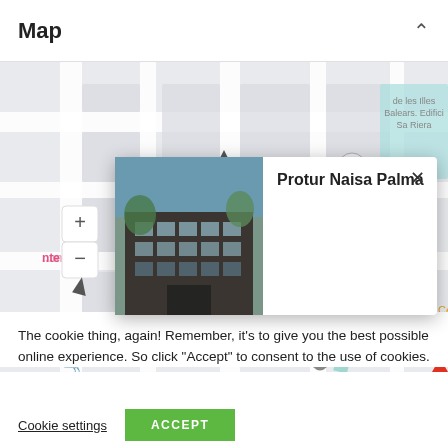Map
[Figure (map): Street map of Palma area showing Protur Naisa Palma hotel location with popup card, bus stop icons, police station label (Jefatura Superior de Policía - Illes Balears), and other landmarks including Plaça l'Hospi and Universitat de les Illes Balears Edifici Sa Riera]
The cookie thing, again! Remember, it's to give you the best possible online experience. So click “Accept” to consent to the use of cookies.
Cookie settings
ACCEPT